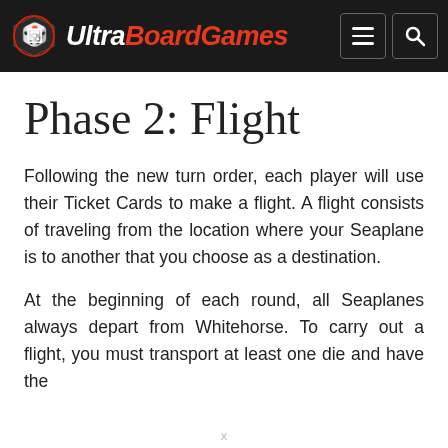UltraBoardGames
Phase 2: Flight
Following the new turn order, each player will use their Ticket Cards to make a flight. A flight consists of traveling from the location where your Seaplane is to another that you choose as a destination.
At the beginning of each round, all Seaplanes always depart from Whitehorse. To carry out a flight, you must transport at least one die and have the
x